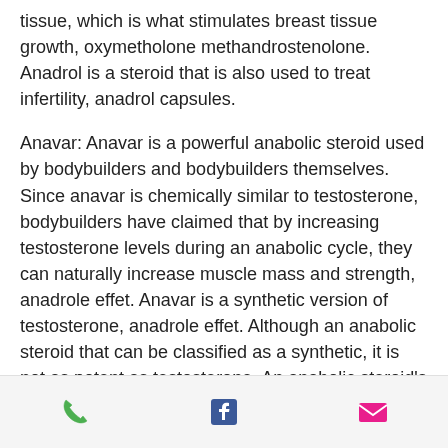tissue, which is what stimulates breast tissue growth, oxymetholone methandrostenolone. Anadrol is a steroid that is also used to treat infertility, anadrol capsules.
Anavar: Anavar is a powerful anabolic steroid used by bodybuilders and bodybuilders themselves. Since anavar is chemically similar to testosterone, bodybuilders have claimed that by increasing testosterone levels during an anabolic cycle, they can naturally increase muscle mass and strength, anadrole effet. Anavar is a synthetic version of testosterone, anadrole effet. Although an anabolic steroid that can be classified as a synthetic, it is not as potent as testosterone. An anabolic steroid's effect on muscle mass is not a direct result of a body's need for more testosterone, but since the
[Figure (infographic): Footer bar with three icons: a green phone icon, a blue Facebook icon, and a pink/magenta envelope icon]